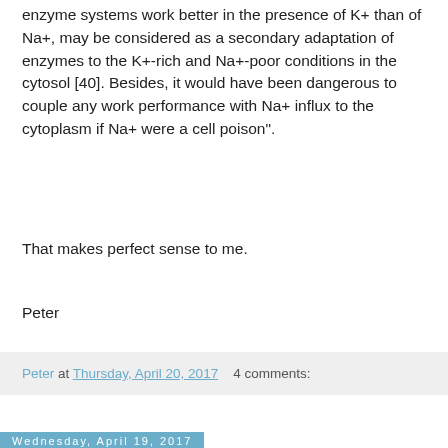enzyme systems work better in the presence of K+ than of Na+, may be considered as a secondary adaptation of enzymes to the K+-rich and Na+-poor conditions in the cytosol [40]. Besides, it would have been dangerous to couple any work performance with Na+ influx to the cytoplasm if Na+ were a cell poison".
That makes perfect sense to me.
Peter
Peter at Thursday, April 20, 2017   4 comments:
Wednesday, April 19, 2017
From Skulachev to LUCA
TLDR: Cells become islands of raised K+ ion concentration when energy is supplied.